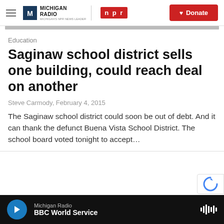Michigan Radio | NPR | Donate
Education
Saginaw school district sells one building, could reach deal on another
Steve Carmody, February 4, 2015
The Saginaw school district could soon be out of debt. And it can thank the defunct Buena Vista School District. The school board voted tonight to accept...
Michigan Radio | BBC World Service